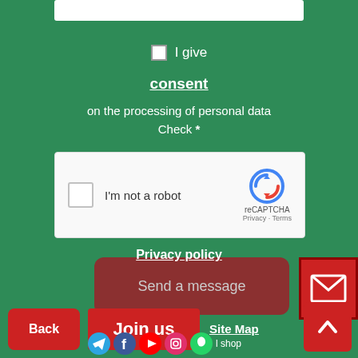[Figure (screenshot): Top portion of a web contact form showing a white input field at the top on a green background]
I give
consent
on the processing of personal data Check *
[Figure (screenshot): reCAPTCHA widget showing checkbox, I'm not a robot label, and reCAPTCHA logo with Privacy and Terms links]
Send a message
[Figure (illustration): Red mail/envelope icon button on right side]
About
Privacy policy
Join us
Site Map
Back
[Figure (illustration): Social media icons: Telegram, Facebook, YouTube, Instagram, WhatsApp, with text '2024' and 'shop']
[Figure (illustration): Red up-arrow button at bottom right]